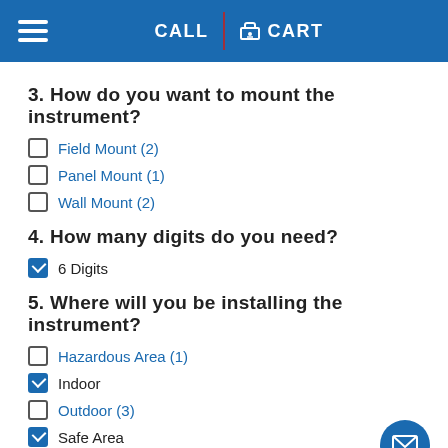CALL  CART
3. How do you want to mount the instrument?
Field Mount (2)
Panel Mount (1)
Wall Mount (2)
4. How many digits do you need?
6 Digits
5. Where will you be installing the instrument?
Hazardous Area (1)
Indoor
Outdoor (3)
Safe Area